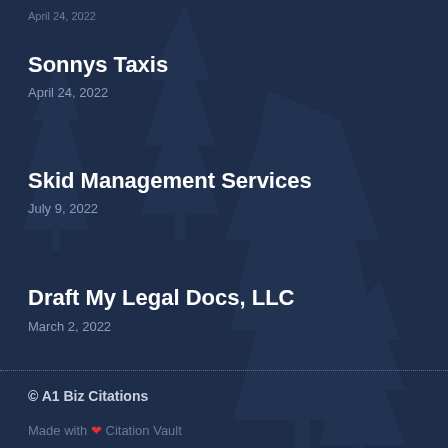April 24, 2022
Sonnys Taxis
April 24, 2022
Skid Management Services
July 9, 2022
Draft My Legal Docs, LLC
March 2, 2022
© A1 Biz Citations
Made with ❤ Citation Vault